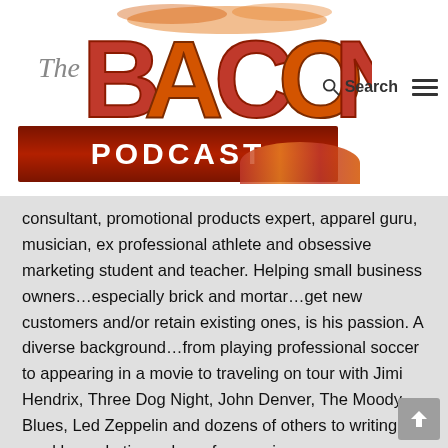[Figure (logo): The Bacon Podcast logo — large stylized orange/red bacon-textured letters spelling BACON with 'The' in grey italic to the left, and a red banner below reading PODCAST in white bold letters]
Search
consultant, promotional products expert, apparel guru, musician, ex professional athlete and obsessive marketing student and teacher. Helping small business owners…especially brick and mortar…get new customers and/or retain existing ones, is his passion. A diverse background…from playing professional soccer to appearing in a movie to traveling on tour with Jimi Hendrix, Three Dog Night, John Denver, The Moody Blues, Led Zeppelin and dozens of others to writing a weekly marketing column for a major newspaper gave Phil a wide and